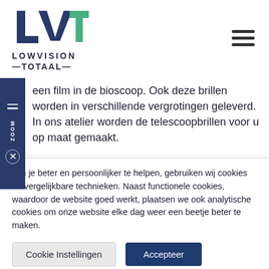[Figure (logo): LVT Lowvision Totaal logo with stylized blue and green letters and text below]
een film in de bioscoop. Ook deze brillen worden in verschillende vergrotingen geleverd. In ons atelier worden de telescoopbrillen voor u op maat gemaakt.

De keuze in hulpmiddelen is sterk afhankelijk van de functionele behoeften en indicatie met betrekking tot
Om je beter en persoonlijker te helpen, gebruiken wij cookies en vergelijkbare technieken. Naast functionele cookies, waardoor de website goed werkt, plaatsen we ook analytische cookies om onze website elke dag weer een beetje beter te maken.